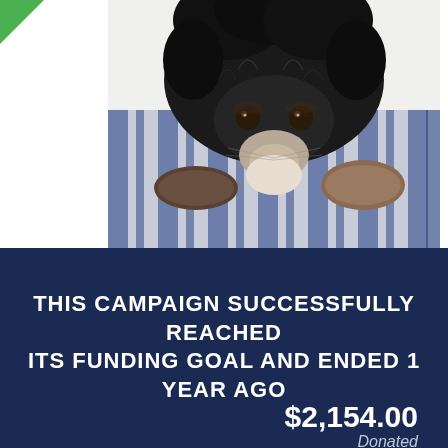[Figure (photo): A small dark-colored dog (appears to be a Chihuahua or Pomeranian mix) resting its chin on a blue and white striped pillow or bedding, looking at the camera with sad eyes. A green triangular badge is visible in the top-left corner.]
THIS CAMPAIGN SUCCESSFULLY REACHED ITS FUNDING GOAL AND ENDED 1 YEAR AGO
$2,154.00 Donated